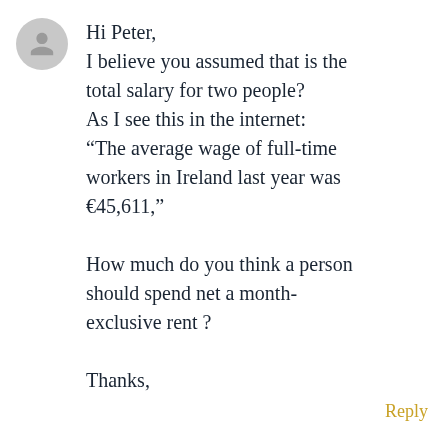[Figure (illustration): Gray circular avatar placeholder with a person silhouette icon]
Hi Peter,
I believe you assumed that is the total salary for two people?
As I see this in the internet:
“The average wage of full-time workers in Ireland last year was €45,611,”

How much do you think a person should spend net a month-exclusive rent ?

Thanks,
Reply
[Figure (illustration): Gray circular avatar placeholder with a person silhouette icon]
Helena on November 3, 2018 at 4:58 am